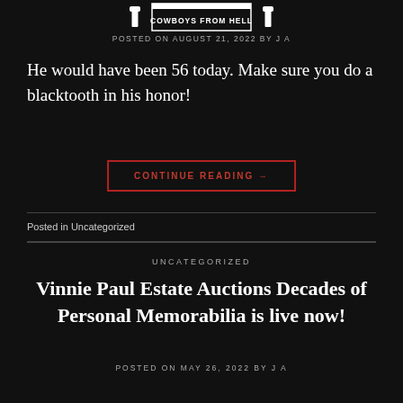COWBOYS FROM HELL
POSTED ON AUGUST 21, 2022 BY J A
He would have been 56 today. Make sure you do a blacktooth in his honor!
CONTINUE READING →
Posted in Uncategorized
UNCATEGORIZED
Vinnie Paul Estate Auctions Decades of Personal Memorabilia is live now!
POSTED ON MAY 26, 2022 BY J A